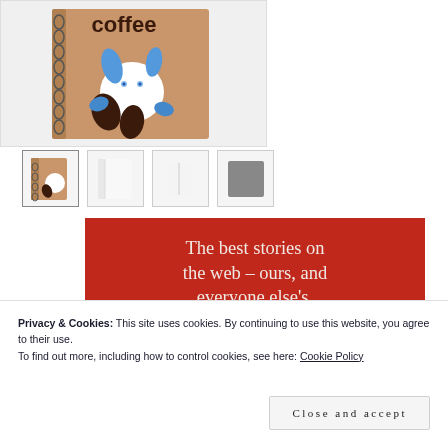[Figure (photo): Product image of a spiral notebook with a cute white rabbit character and coffee beans on a tan/brown cover, partially visible at the top]
[Figure (photo): Thumbnail strip showing 4 small product thumbnail images of the notebook from different angles]
[Figure (infographic): Red promotional banner with serif text reading 'The best stories on the web – ours, and everyone else's.' and a black 'Start reading' button]
Privacy & Cookies: This site uses cookies. By continuing to use this website, you agree to their use.
To find out more, including how to control cookies, see here: Cookie Policy
Close and accept